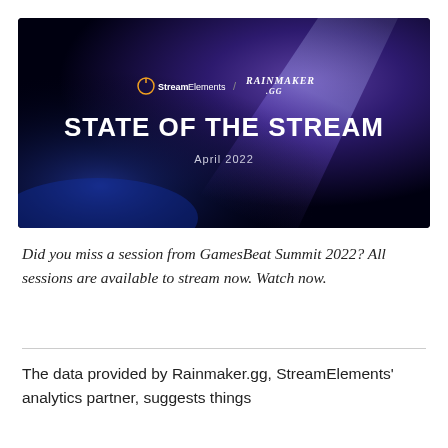[Figure (screenshot): Cover image for 'State of the Stream April 2022' report by StreamElements and Rainmaker.gg. Dark background with purple/blue gradient lighting. Shows logos of StreamElements and Rainmaker.gg at top, large white bold text 'STATE OF THE STREAM', and subtitle 'April 2022'.]
Did you miss a session from GamesBeat Summit 2022? All sessions are available to stream now. Watch now.
The data provided by Rainmaker.gg, StreamElements' analytics partner, suggests things